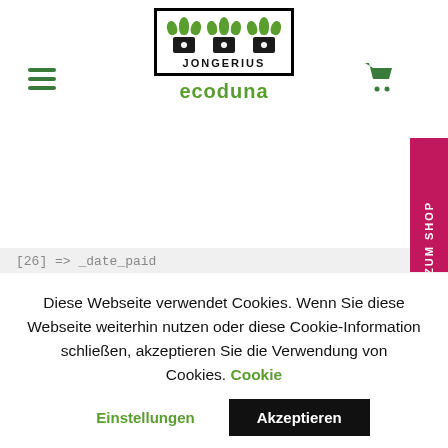[Figure (logo): Jongerius ecoduna logo with three plant pots and green leaves, text JONGERIUS in black, ecoduna in green]
[Figure (screenshot): Code snippet showing PHP array indices [26] => _date_paid, [27] => _cart_hash, [28] => _customer_use, [29] => _order_key, [30] => _order_curren, [31] => _billing_firs, [32] => _billing_last, [33] => _billing_comp, [34] => _billing_addr]
Diese Webseite verwendet Cookies. Wenn Sie diese Webseite weiterhin nutzen oder diese Cookie-Information schließen, akzeptieren Sie die Verwendung von Cookies. Cookie
Einstellungen
Akzeptieren